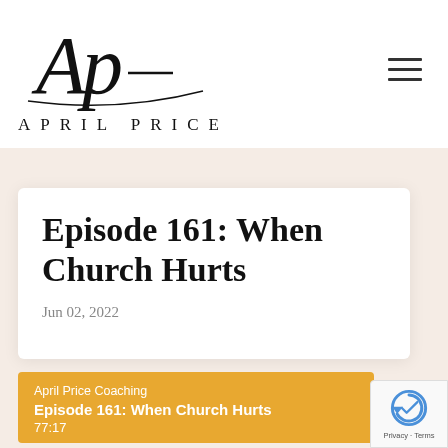[Figure (logo): April Price handwritten script logo with stylized 'Ap' monogram and text 'APRIL PRICE' in spaced capitals beneath]
Episode 161: When Church Hurts
Jun 02, 2022
April Price Coaching
Episode 161: When Church Hurts
77:17